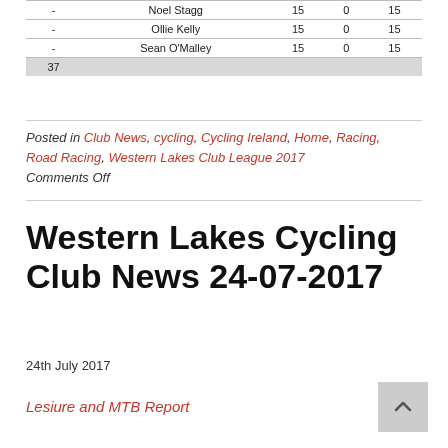| - | Noel Stagg | 15 | 0 | 15 |
| - | Ollie Kelly | 15 | 0 | 15 |
| - | Sean O'Malley | 15 | 0 | 15 |
| 37 |  |  |  |  |
Posted in Club News, cycling, Cycling Ireland, Home, Racing, Road Racing, Western Lakes Club League 2017
Comments Off
Western Lakes Cycling Club News 24-07-2017
24th July 2017
Lesiure and MTB Report